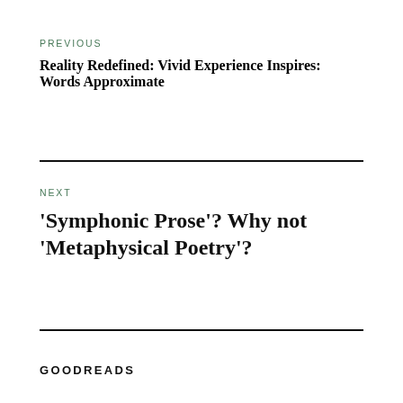PREVIOUS
Reality Redefined: Vivid Experience Inspires: Words Approximate
NEXT
'Symphonic Prose'? Why not 'Metaphysical Poetry'?
GOODREADS